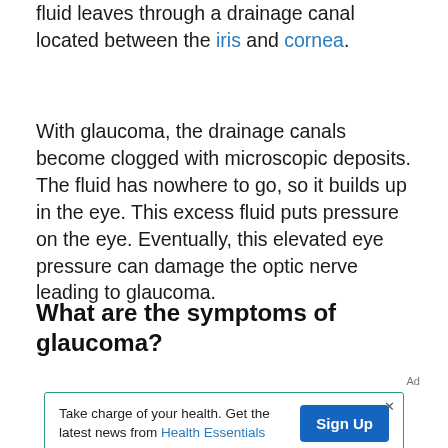fluid leaves through a drainage canal located between the iris and cornea.
With glaucoma, the drainage canals become clogged with microscopic deposits. The fluid has nowhere to go, so it builds up in the eye. This excess fluid puts pressure on the eye. Eventually, this elevated eye pressure can damage the optic nerve leading to glaucoma.
What are the symptoms of glaucoma?
Ad
Take charge of your health. Get the latest news from Health Essentials | Sign Up